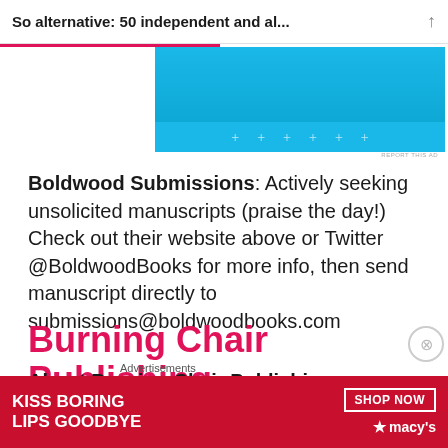So alternative: 50 independent and al...
[Figure (screenshot): Light blue advertisement banner with dots]
Boldwood Submissions: Actively seeking unsolicited manuscripts (praise the day!) Check out their website above or Twitter @BoldwoodBooks for more info, then send manuscript directly to submissions@boldwoodbooks.com
Burning Chair Publishing
About Burning Chair Publishing: From first class
[Figure (screenshot): Macy's advertisement: KISS BORING LIPS GOODBYE with SHOP NOW button and Macy's star logo]